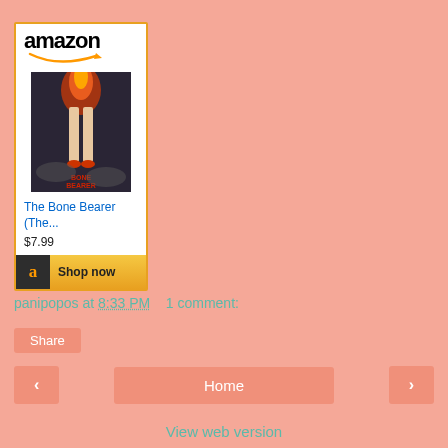[Figure (other): Amazon product widget showing book 'The Bone Bearer (The...)' priced at $7.99 with a Shop now button]
panipopos at 8:33 PM    1 comment:
Share
Home
View web version